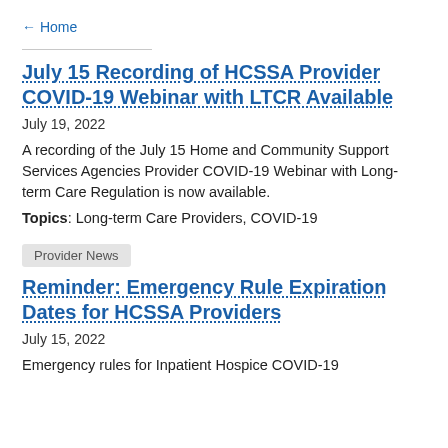← Home
July 15 Recording of HCSSA Provider COVID-19 Webinar with LTCR Available
July 19, 2022
A recording of the July 15 Home and Community Support Services Agencies Provider COVID-19 Webinar with Long-term Care Regulation is now available.
Topics: Long-term Care Providers, COVID-19
Provider News
Reminder: Emergency Rule Expiration Dates for HCSSA Providers
July 15, 2022
Emergency rules for Inpatient Hospice COVID-19